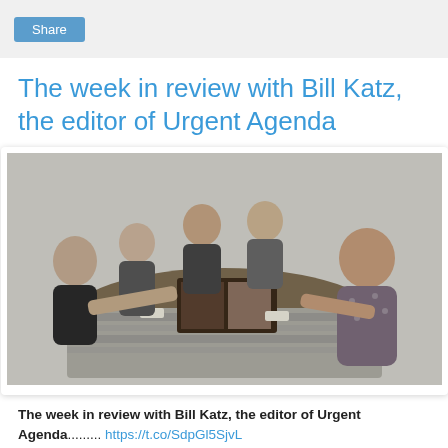Share
The week in review with Bill Katz, the editor of Urgent Agenda
[Figure (photo): Black and white photograph of a group of people gathered around a table with a board game, likely backgammon, with cups on the table.]
The week in review with Bill Katz, the editor of Urgent Agenda......... https://t.co/SdpGl5SjvL — Silvio Canto, Jr. (@SCantojr) December 27, 2015